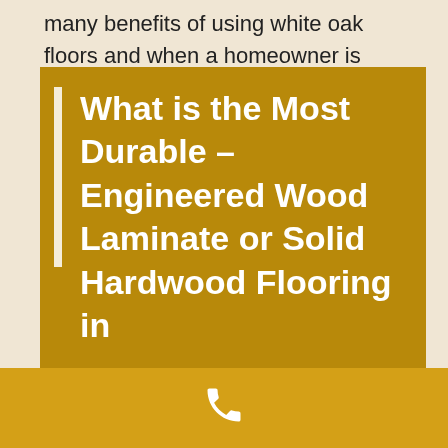many benefits of using white oak floors and when a homeowner is looking to install a wood floor for the first time or needs to replace old wood floors, consider using white oak. Mike's Custom Flooring will share why...
Continue reading →
What is the Most Durable – Engineered Wood Laminate or Solid Hardwood Flooring in
[Figure (other): Golden/amber colored phone bar at the bottom with a white phone handset icon]